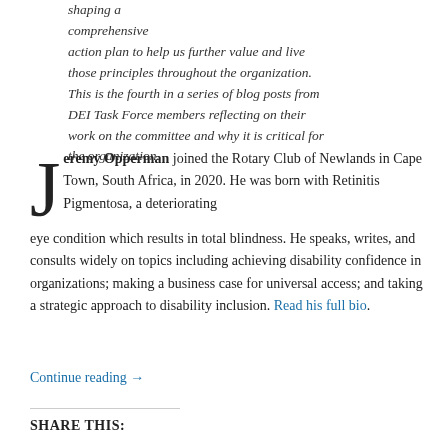shaping a comprehensive action plan to help us further value and live those principles throughout the organization. This is the fourth in a series of blog posts from DEI Task Force members reflecting on their work on the committee and why it is critical for the organization.
Jeremy Opperman joined the Rotary Club of Newlands in Cape Town, South Africa, in 2020. He was born with Retinitis Pigmentosa, a deteriorating eye condition which results in total blindness. He speaks, writes, and consults widely on topics including achieving disability confidence in organizations; making a business case for universal access; and taking a strategic approach to disability inclusion. Read his full bio.
Continue reading →
SHARE THIS: